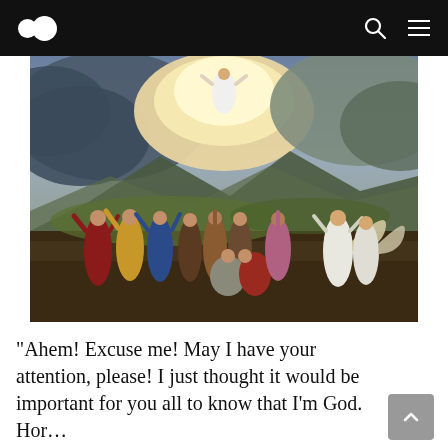Medium header with logo, search, and menu icons
[Figure (illustration): Classical oil painting depicting the Ascension of Christ. A figure in white robes ascends into dramatic cloudy skies above while a group of disciples and two angels with wings witness the event below on a hillside landscape.]
“Ahem! Excuse me! May I have your attention, please! I just thought it would be important for you all to know that I’m God. Hor…